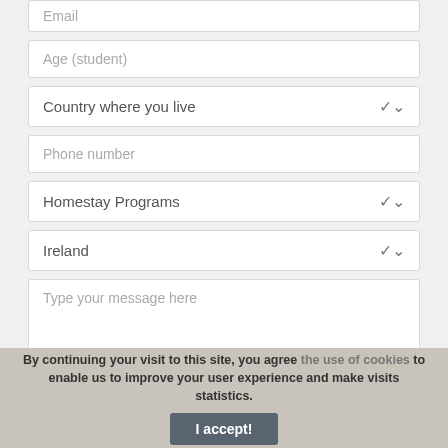Email
Age (student)
Country where you live
Phone number
Homestay Programs
Ireland
Type your message here
By continuing your visit to this site, you agree the use of cookies to enable us to improve your user experience and make visits statistics.
I accept!